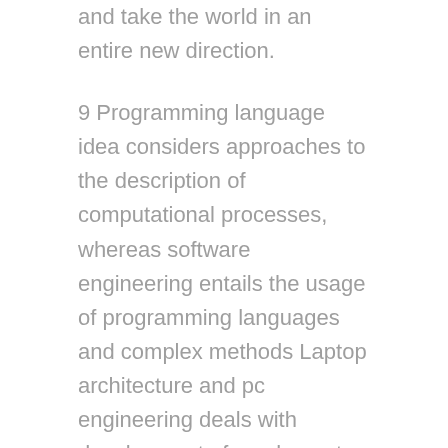and take the world in an entire new direction.
9 Programming language idea considers approaches to the description of computational processes, whereas software engineering entails the usage of programming languages and complex methods Laptop architecture and pc engineering deals with development of pc elements and laptop-controlled equipment.
Students will also receive teaching in a variety of other ways, depending on the course. Some teaching can also be delivered by postdoctoral researchers or postgraduate students who're studying at doctorate degree. This optional